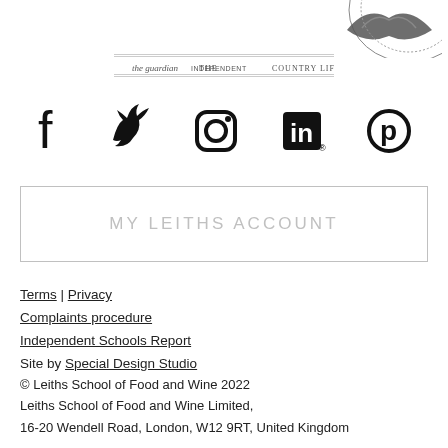[Figure (logo): Leiths school circular badge/crest logo in dark grey, partially visible at top right]
[Figure (logo): Press logos: the guardian, THE INDEPENDENT, COUNTRY LIFE]
[Figure (infographic): Social media icons row: Facebook, Twitter, Instagram, LinkedIn, Pinterest]
MY LEITHS ACCOUNT
Terms | Privacy
Complaints procedure
Independent Schools Report
Site by Special Design Studio
© Leiths School of Food and Wine 2022
Leiths School of Food and Wine Limited,
16-20 Wendell Road, London, W12 9RT, United Kingdom